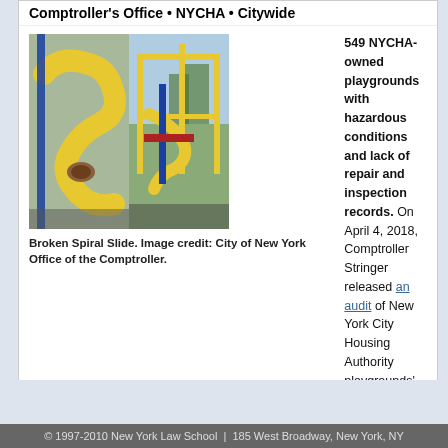Comptroller's Office • NYCHA • Citywide
[Figure (photo): Two photos side by side of a broken yellow spiral slide on a NYCHA playground]
Broken Spiral Slide. Image credit: City of New York Office of the Comptroller.
549 NYCHA-owned playgrounds with hazardous conditions and lack of repair and inspection records. On April 4, 2018, Comptroller Stringer released an audit of New York City Housing Authority playgrounds' conditions and recordkeeping. NYCHA is responsible for the upkeep of each development's playgrounds. Monthly and annual inspections are required to be logged in an electronic system for tracking and to prioritize physical repair work. However, our audit shows that NYCHA failed to properly maintain its playgrounds. (more…)
Date: 04/18/2018
Leave a Comment
Tags : chil… Stringer, Comptro… keeping p… NYCHA, playgrou…
© 1997-2010 New York Law School | 185 West Broadway, New York, NY